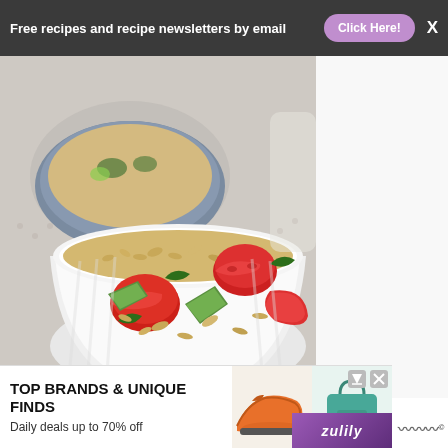Free recipes and recipe newsletters by email  Click Here!  X
[Figure (photo): Two white bowls of orzo pasta salad with cherry tomatoes, cucumber pieces and basil leaves, placed on a light blue patterned cloth background]
[Figure (infographic): Advertisement banner: TOP BRANDS & UNIQUE FINDS - Daily deals up to 70% off - Zulily ad with shoe and bag images]